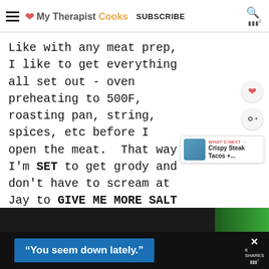My Therapist Cooks   SUBSCRIBE
Like with any meat prep, I like to get everything all set out - oven preheating to 500F, roasting pan, string, spices, etc before I open the meat.  That way I'm SET to get grody and don't have to scream at Jay to GIVE ME MORE SALT while I'm up to my elbows in cow blood.  It happens.  So, grab a huge dish and put the spices in the bottom.
WHAT'S NEXT → Crispy Steak Tacos +...
"You seem down lately."